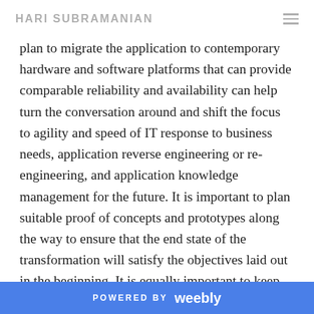HARI SUBRAMANIAN
plan to migrate the application to contemporary hardware and software platforms that can provide comparable reliability and availability can help turn the conversation around and shift the focus to agility and speed of IT response to business needs, application reverse engineering or re-engineering, and application knowledge management for the future. It is important to plan suitable proof of concepts and prototypes along the way to ensure that the end state of the transformation will satisfy the objectives laid out in the beginning. It is equally important to keep the existing managed services vendor as an important stakeholder in the
POWERED BY weebly